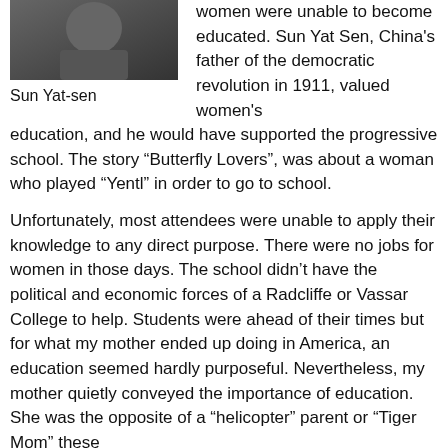[Figure (photo): Black and white photograph of Sun Yat-sen]
Sun Yat-sen
women were unable to become educated. Sun Yat Sen, China's father of the democratic revolution in 1911, valued women's education, and he would have supported the progressive school. The story “Butterfly Lovers”, was about a woman who played “Yentl” in order to go to school.
Unfortunately, most attendees were unable to apply their knowledge to any direct purpose. There were no jobs for women in those days. The school didn’t have the political and economic forces of a Radcliffe or Vassar College to help. Students were ahead of their times but for what my mother ended up doing in America, an education seemed hardly purposeful. Nevertheless, my mother quietly conveyed the importance of education. She was the opposite of a “helicopter” parent or “Tiger Mom” these